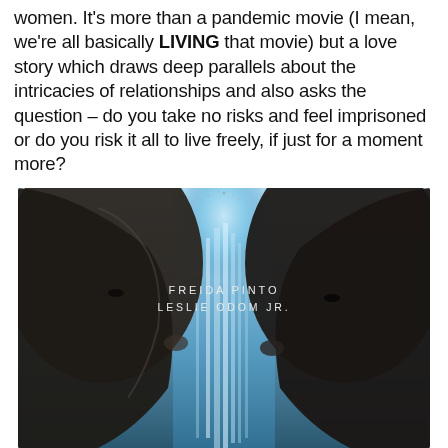women. It's more than a pandemic movie (I mean, we're all basically LIVING that movie) but a love story which draws deep parallels about the intricacies of relationships and also asks the question – do you take no risks and feel imprisoned or do you risk it all to live freely, if just for a moment more?
[Figure (photo): Movie poster showing Freida Pinto and Leslie Odom Jr. facing in opposite directions with a waterfall/cosmic scene visible between their profiles, with text 'FREIDA PINTO' and 'LESLIE ODOM JR.' overlaid in the center]